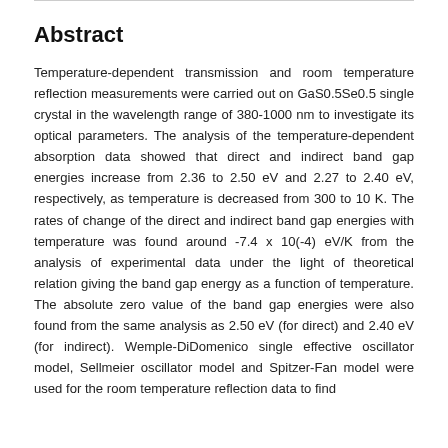Abstract
Temperature-dependent transmission and room temperature reflection measurements were carried out on GaS0.5Se0.5 single crystal in the wavelength range of 380-1000 nm to investigate its optical parameters. The analysis of the temperature-dependent absorption data showed that direct and indirect band gap energies increase from 2.36 to 2.50 eV and 2.27 to 2.40 eV, respectively, as temperature is decreased from 300 to 10 K. The rates of change of the direct and indirect band gap energies with temperature was found around -7.4 x 10(-4) eV/K from the analysis of experimental data under the light of theoretical relation giving the band gap energy as a function of temperature. The absolute zero value of the band gap energies were also found from the same analysis as 2.50 eV (for direct) and 2.40 eV (for indirect). Wemple-DiDomenico single effective oscillator model, Sellmeier oscillator model and Spitzer-Fan model were used for the room temperature reflection data to find